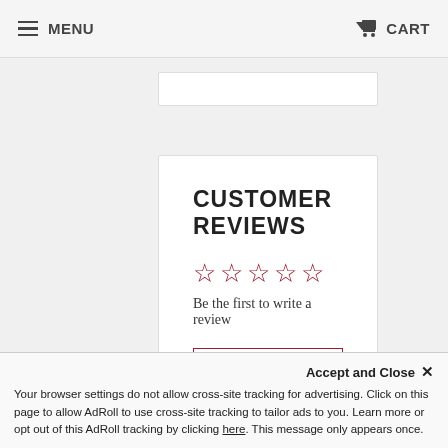MENU  CART
CUSTOMER REVIEWS
Be the first to write a review
Write a review
Ask a question
Accept and Close ×
Your browser settings do not allow cross-site tracking for advertising. Click on this page to allow AdRoll to use cross-site tracking to tailor ads to you. Learn more or opt out of this AdRoll tracking by clicking here. This message only appears once.